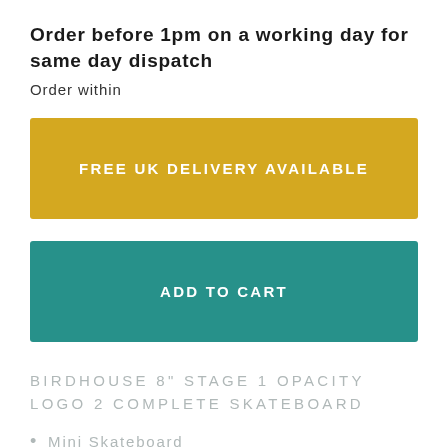Order before 1pm on a working day for same day dispatch
Order within
FREE UK DELIVERY AVAILABLE
ADD TO CART
BIRDHOUSE 8" STAGE 1 OPACITY LOGO 2 COMPLETE SKATEBOARD
Mini Skateboard